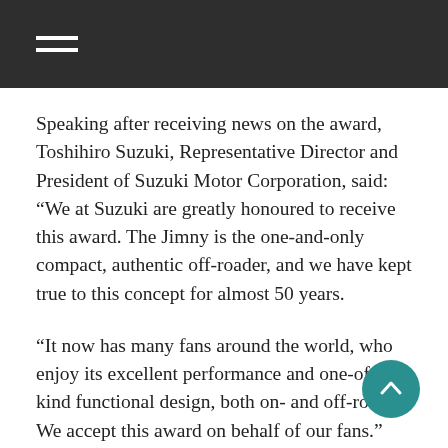Navigation menu
Speaking after receiving news on the award, Toshihiro Suzuki, Representative Director and President of Suzuki Motor Corporation, said: “We at Suzuki are greatly honoured to receive this award. The Jimny is the one-and-only compact, authentic off-roader, and we have kept true to this concept for almost 50 years.
“It now has many fans around the world, who enjoy its excellent performance and one-of-a-kind functional design, both on- and off-road. We accept this award on behalf of our fans.”
The new Jimny was launched in Japan in July 2018 and has since become used to the limelight. Shortly after being launched, it won a GOOD Design Award for its funky, yet functional design and full-bore 4×4 capabilities. It has also been included in the GOOD